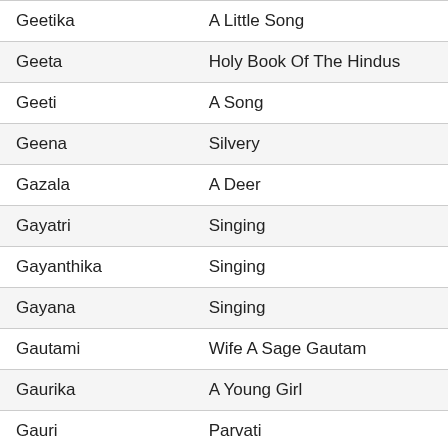| Name | Meaning |
| --- | --- |
| Geetika | A Little Song |
| Geeta | Holy Book Of The Hindus |
| Geeti | A Song |
| Geena | Silvery |
| Gazala | A Deer |
| Gayatri | Singing |
| Gayanthika | Singing |
| Gayana | Singing |
| Gautami | Wife A Sage Gautam |
| Gaurika | A Young Girl |
| Gauri | Parvati |